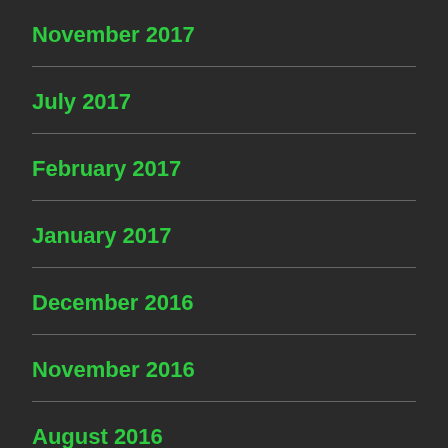November 2017
July 2017
February 2017
January 2017
December 2016
November 2016
August 2016
June 2016